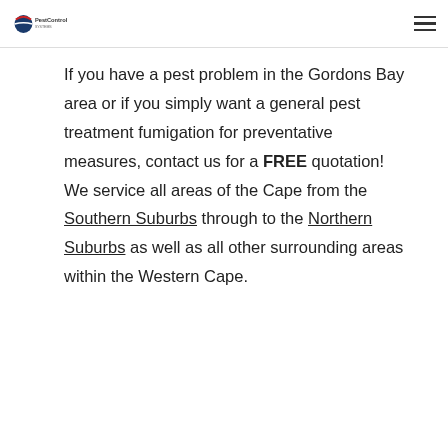PestControl
If you have a pest problem in the Gordons Bay area or if you simply want a general pest treatment fumigation for preventative measures, contact us for a FREE quotation! We service all areas of the Cape from the Southern Suburbs through to the Northern Suburbs as well as all other surrounding areas within the Western Cape.